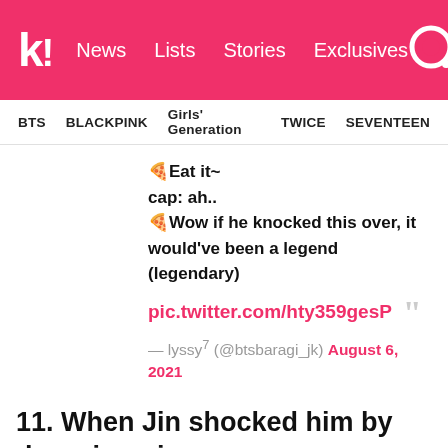k! News Lists Stories Exclusives
BTS BLACKPINK Girls' Generation TWICE SEVENTEEN
🍕Eat it~
cap: ah..
🍕Wow if he knocked this over, it would've been a legend (legendary)

pic.twitter.com/hty359gesP

— lyssy⁷ (@btsbaragi_jk) August 6, 2021
11. When Jin shocked him by dropping pizza